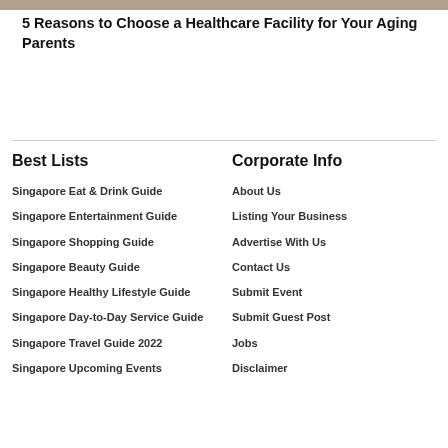[Figure (photo): Partial photo strip at top of page showing elderly people]
5 Reasons to Choose a Healthcare Facility for Your Aging Parents
Best Lists
Singapore Eat & Drink Guide
Singapore Entertainment Guide
Singapore Shopping Guide
Singapore Beauty Guide
Singapore Healthy Lifestyle Guide
Singapore Day-to-Day Service Guide
Singapore Travel Guide 2022
Singapore Upcoming Events
Corporate Info
About Us
Listing Your Business
Advertise With Us
Contact Us
Submit Event
Submit Guest Post
Jobs
Disclaimer